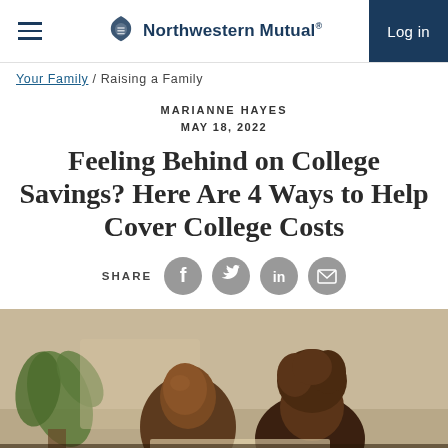Northwestern Mutual | Log in
Your Family / Raising a Family
MARIANNE HAYES
MAY 18, 2022
Feeling Behind on College Savings? Here Are 4 Ways to Help Cover College Costs
SHARE
[Figure (photo): Two people reviewing documents together, with a plant in the background.]